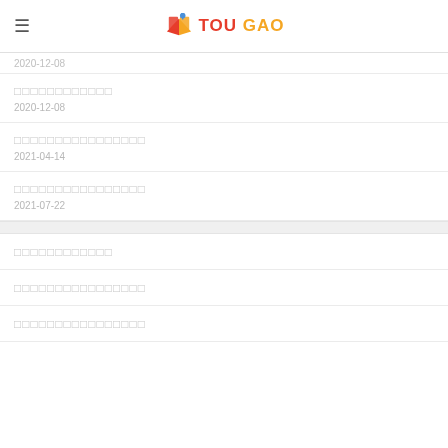≡  TOU GAO
2020-12-08 (partial, top)
□□□□□□□□□□□□   2020-12-08
□□□□□□□□□□□□□□□□   2021-04-14
□□□□□□□□□□□□□□□□   2021-07-22
□□□□□□□□□□□□
□□□□□□□□□□□□□□□□
□□□□□□□□□□□□□□□□